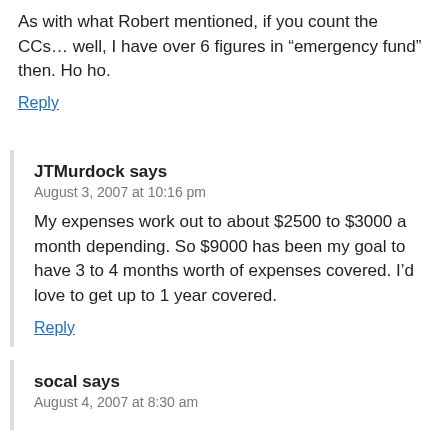As with what Robert mentioned, if you count the CCs… well, I have over 6 figures in “emergency fund” then. Ho ho.
Reply
JTMurdock says
August 3, 2007 at 10:16 pm
My expenses work out to about $2500 to $3000 a month depending. So $9000 has been my goal to have 3 to 4 months worth of expenses covered. I’d love to get up to 1 year covered.
Reply
socal says
August 4, 2007 at 8:30 am